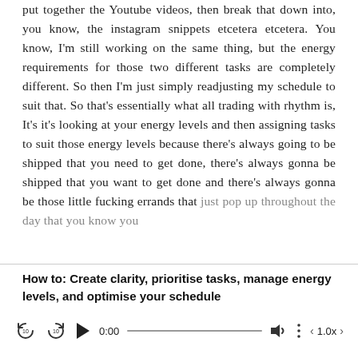put together the Youtube videos, then break that down into, you know, the instagram snippets etcetera etcetera. You know, I'm still working on the same thing, but the energy requirements for those two different tasks are completely different. So then I'm just simply readjusting my schedule to suit that. So that's essentially what all trading with rhythm is, It's it's looking at your energy levels and then assigning tasks to suit those energy levels because there's always going to be shipped that you need to get done, there's always gonna be shipped that you want to get done and there's always gonna be those little fucking errands that just pop up throughout the day that you know you
How to: Create clarity, prioritise tasks, manage energy levels, and optimise your schedule
[Figure (other): Audio player controls showing: skip back 10s button, skip forward 10s button, play button, timestamp 0:00, progress bar, volume icon, more options icon, previous/next navigation, and 1.0x speed control]